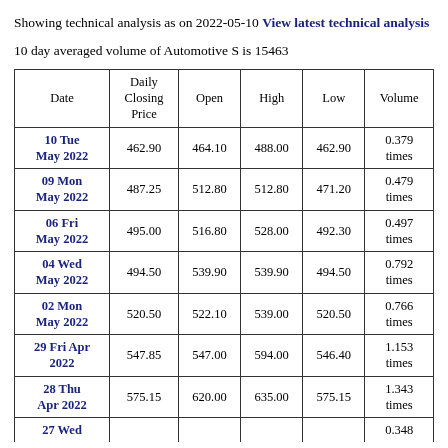Showing technical analysis as on 2022-05-10 View latest technical analysis
10 day averaged volume of Automotive S is 15463
| Date | Daily Closing Price | Open | High | Low | Volume |
| --- | --- | --- | --- | --- | --- |
| 10 Tue May 2022 | 462.90 | 464.10 | 488.00 | 462.90 | 0.379 times |
| 09 Mon May 2022 | 487.25 | 512.80 | 512.80 | 471.20 | 0.479 times |
| 06 Fri May 2022 | 495.00 | 516.80 | 528.00 | 492.30 | 0.497 times |
| 04 Wed May 2022 | 494.50 | 539.90 | 539.90 | 494.50 | 0.792 times |
| 02 Mon May 2022 | 520.50 | 522.10 | 539.00 | 520.50 | 0.766 times |
| 29 Fri Apr 2022 | 547.85 | 547.00 | 594.00 | 546.40 | 1.153 times |
| 28 Thu Apr 2022 | 575.15 | 620.00 | 635.00 | 575.15 | 1.343 times |
| 27 Wed ... |  |  |  |  | 0.348... |